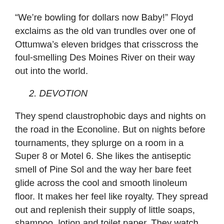“We’re bowling for dollars now Baby!” Floyd exclaims as the old van trundles over one of Ottumwa’s eleven bridges that crisscross the foul-smelling Des Moines River on their way out into the world.
2. DEVOTION
They spend claustrophobic days and nights on the road in the Econoline. But on nights before tournaments, they splurge on a room in a Super 8 or Motel 6. She likes the antiseptic smell of Pine Sol and the way her bare feet glide across the cool and smooth linoleum floor. It makes her feel like royalty. They spread out and replenish their supply of little soaps, shampoo, lotion and toilet paper. They watch TV.